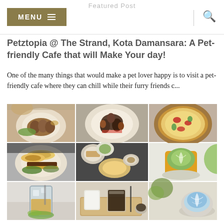Featured Post
Petztopia @ The Strand, Kota Damansara: A Pet-friendly Cafe that will Make Your day!
One of the many things that would make a pet lover happy is to visit a pet-friendly cafe where they can chill while their furry friends c...
[Figure (photo): 3x3 grid of food and drink photos showing various cafe dishes including pasta, pizza, burger with onion rings, matcha latte, and coffee drinks]